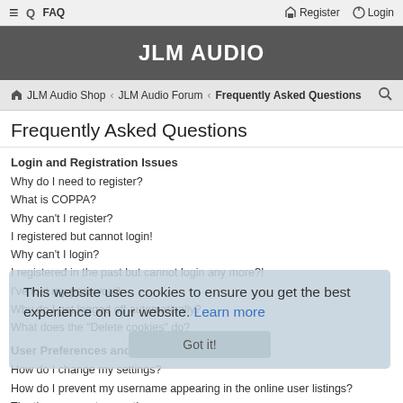≡  FAQ    Register  Login
JLM AUDIO
⌂ JLM Audio Shop  ‹  JLM Audio Forum  ‹  Frequently Asked Questions  🔍
Frequently Asked Questions
Login and Registration Issues
Why do I need to register?
What is COPPA?
Why can't I register?
I registered but cannot login!
Why can't I login?
I registered in the past but cannot login any more?!
I've lost my password!
Why do I get logged off automatically?
What does the "Delete cookies" do?
User Preferences and settings
How do I change my settings?
How do I prevent my username appearing in the online user listings?
The times are not correct!
I changed the timezone and the time is still wrong!
My language is not in the list!
What are the images next to my username?
This website uses cookies to ensure you get the best experience on our website. Learn more  Got it!